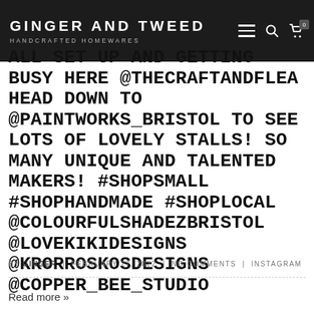GINGER AND TWEED HANDCRAFTED HOMEWARES
ALL SET UP AND GETTING BUSY HERE @THECRAFTANDFLEA HEAD DOWN TO @PAINTWORKS_BRISTOL TO SEE LOTS OF LOVELY STALLS! SO MANY UNIQUE AND TALENTED MAKERS! #SHOPSMALL #SHOPHANDMADE #SHOPLOCAL @COLOURFULSHADEZBRISTOL @LOVEKIKIDESIGNS @KRORROSKOSDESIGNS @COPPER_BEE_STUDIO
BY GINGER | FEBRUARY 27, 2022 | NO COMMENTS | INSTAGRAM
Read more »